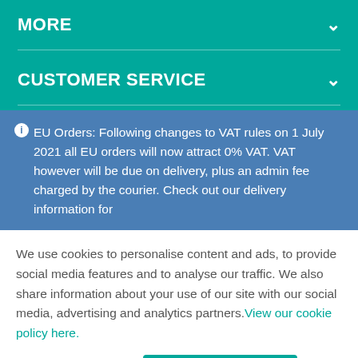MORE
CUSTOMER SERVICE
EU Orders: Following changes to VAT rules on 1 July 2021 all EU orders will now attract 0% VAT. VAT however will be due on delivery, plus an admin fee charged by the courier. Check out our delivery information for
We use cookies to personalise content and ads, to provide social media features and to analyse our traffic. We also share information about your use of our site with our social media, advertising and analytics partners. View our cookie policy here.